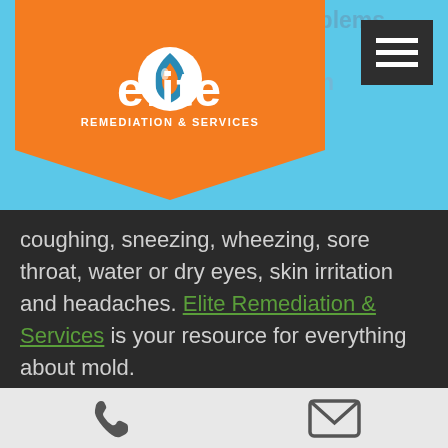[Figure (logo): Elite Remediation & Services logo on orange pentagon background with blue strip header]
coughing, sneezing, wheezing, sore throat, water or dry eyes, skin irritation and headaches. Elite Remediation & Services is your resource for everything about mold.
Mold can put into 3 classifications (Allergenic, Pathogenic, and Toxigenic). Allergenic is a mold that can cause and produce allergies and allergic reactions such as an asthma attack. Pathogenic molds cause health problems in those suffering